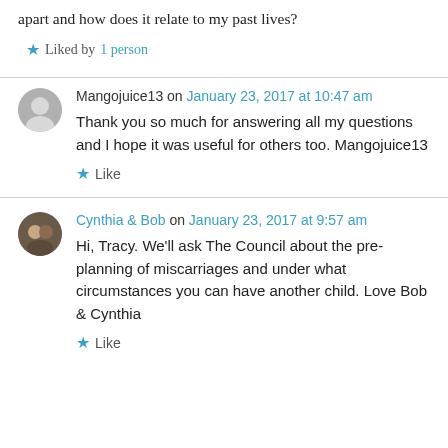apart and how does it relate to my past lives?
Liked by 1 person
Mangojuice13 on January 23, 2017 at 10:47 am
Thank you so much for answering all my questions and I hope it was useful for others too. Mangojuice13
Like
Cynthia & Bob on January 23, 2017 at 9:57 am
Hi, Tracy. We'll ask The Council about the pre-planning of miscarriages and under what circumstances you can have another child. Love Bob & Cynthia
Like